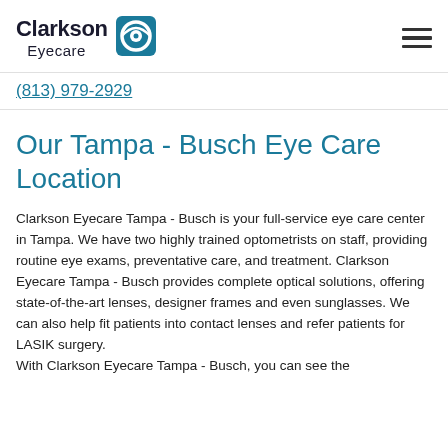Clarkson Eyecare
(813) 979-2929
Our Tampa - Busch Eye Care Location
Clarkson Eyecare Tampa - Busch is your full-service eye care center in Tampa. We have two highly trained optometrists on staff, providing routine eye exams, preventative care, and treatment. Clarkson Eyecare Tampa - Busch provides complete optical solutions, offering state-of-the-art lenses, designer frames and even sunglasses. We can also help fit patients into contact lenses and refer patients for LASIK surgery. With Clarkson Eyecare Tampa - Busch, you can see the